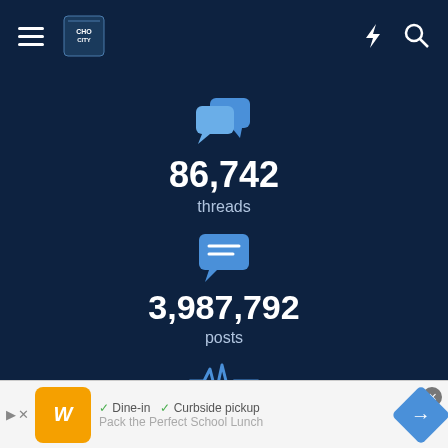CHOCity forum navigation header with hamburger menu, logo, lightning icon, and search icon
[Figure (other): Two speech bubbles icon (forum threads icon) in blue]
86,742
threads
[Figure (other): Single speech bubble with lines icon (posts icon) in blue]
3,987,792
posts
[Figure (other): Activity/pulse waveform icon in blue]
169
[Figure (other): Advertisement banner: Wegmans logo, Dine-in and Curbside pickup options, Pack the Perfect School Lunch text, navigation arrow]